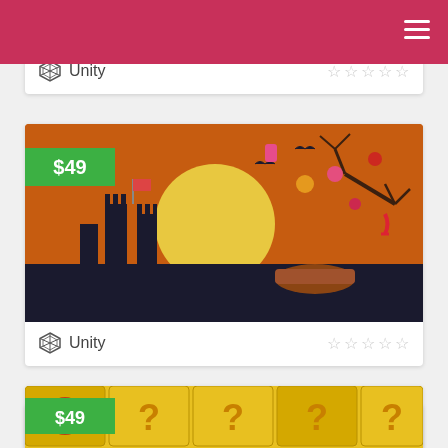[Figure (screenshot): App listing card partial - Unity platform with 5 empty stars]
[Figure (screenshot): App listing card - Halloween candy game, priced at $49, Unity platform, 5 empty star rating]
[Figure (screenshot): App listing card - Story Maker app, priced at $119, Android platform, 5 empty star rating]
[Figure (screenshot): App listing card partial - yellow game with question mark boxes, priced at $49]